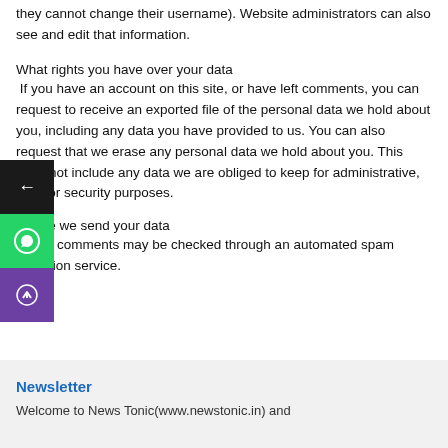they cannot change their username). Website administrators can also see and edit that information.
What rights you have over your data
If you have an account on this site, or have left comments, you can request to receive an exported file of the personal data we hold about you, including any data you have provided to us. You can also request that we erase any personal data we hold about you. This does not include any data we are obliged to keep for administrative, legal or security purposes.
Where we send your data
Visitor comments may be checked through an automated spam detection service.
Newsletter
Welcome to News Tonic(www.newstonic.in) and